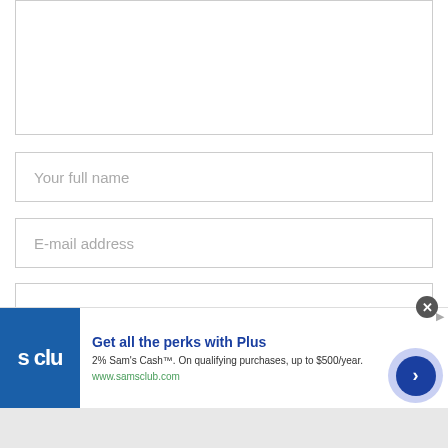[Figure (screenshot): Partial view of a text area input field (large comment/message box) with a light border, mostly blank]
[Figure (screenshot): Form input field with placeholder text 'Your full name']
[Figure (screenshot): Form input field with placeholder text 'E-mail address']
[Figure (screenshot): Form input field with placeholder text 'Website']
[Figure (screenshot): Advertisement banner for Sam's Club Plus membership. Logo shows 's clu' on blue background. Text: 'Get all the perks with Plus', '2% Sam’s Cash™. On qualifying purchases, up to $500/year.', 'www.samsclub.com'. Has a close (X) button and a blue arrow button.]